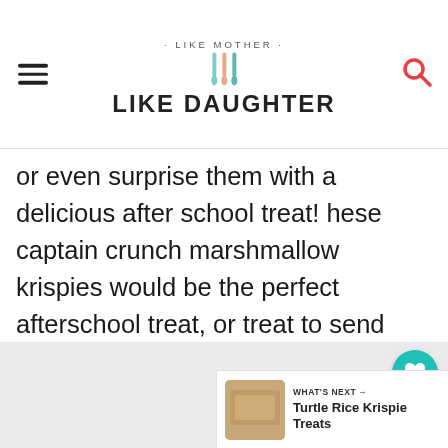· LIKE MOTHER · LIKE DAUGHTER
or even surprise them with a delicious after school treat! hese captain crunch marshmallow krispies would be the perfect afterschool treat, or treat to send with your kids in their lunch boxes too.
[Figure (other): Gray placeholder image area for food photo]
WHAT'S NEXT → Turtle Rice Krispie Treats